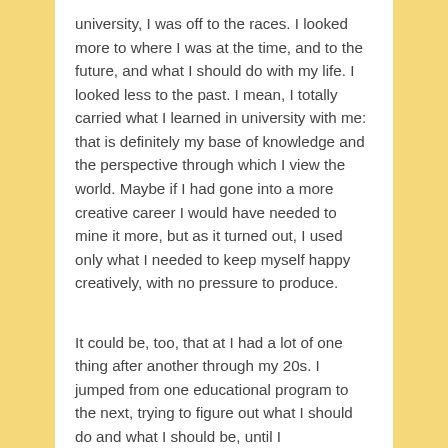university, I was off to the races. I looked more to where I was at the time, and to the future, and what I should do with my life. I looked less to the past. I mean, I totally carried what I learned in university with me: that is definitely my base of knowledge and the perspective through which I view the world. Maybe if I had gone into a more creative career I would have needed to mine it more, but as it turned out, I used only what I needed to keep myself happy creatively, with no pressure to produce.
It could be, too, that at I had a lot of one thing after another through my 20s. I jumped from one educational program to the next, trying to figure out what I should do and what I should be, until I realized/decided that I should be someone who makes money and jumped at a chance to do that.